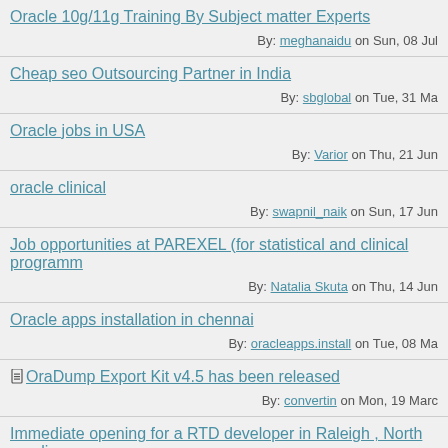Oracle 10g/11g Training By Subject matter Experts — By: meghanaidu on Sun, 08 Jul
Cheap seo Outsourcing Partner in India — By: sbglobal on Tue, 31 Ma
Oracle jobs in USA — By: Varior on Thu, 21 Jun
oracle clinical — By: swapnil_naik on Sun, 17 Jun
Job opportunities at PAREXEL (for statistical and clinical programm… — By: Natalia Skuta on Thu, 14 Jun
Oracle apps installation in chennai — By: oracleapps.install on Tue, 08 Ma
[attachment] OraDump Export Kit v4.5 has been released — By: convertin on Mon, 19 Marc
Immediate opening for a RTD developer in Raleigh , North carolina… — By: gdeena on Fri, 08 Jun
New version of Tidycode Pl/Sql Formatter is available with Pl/Sql Preprocessor (merged)